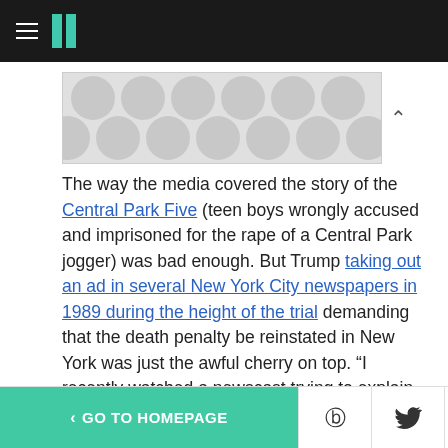HuffPost navigation header with hamburger menu and logo
[Figure (other): Advertisement placeholder banner with grey polka-dot pattern]
The way the media covered the story of the Central Park Five (teen boys wrongly accused and imprisoned for the rape of a Central Park jogger) was bad enough. But Trump taking out an ad in several New York City newspapers in 1989 during the height of the trial demanding that the death penalty be reinstated in New York was just the awful cherry on top. “I recently watched a newscast trying to explain ‘the anger in these young men,’” Trump wrote. “I no longer want to
< GO TO HOMEPAGE | Facebook | Twitter | X